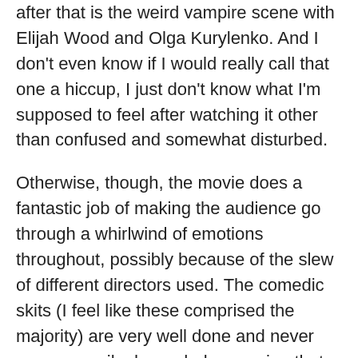after that is the weird vampire scene with Elijah Wood and Olga Kurylenko. And I don't even know if I would really call that one a hiccup, I just don't know what I'm supposed to feel after watching it other than confused and somewhat disturbed.
Otherwise, though, the movie does a fantastic job of making the audience go through a whirlwind of emotions throughout, possibly because of the slew of different directors used. The comedic skits (I feel like these comprised the majority) are very well done and never unnecessarily dry or dark, meaning that we end these short films with a pleasant lighthearted feeling, which makes the scenes that ARE  a little darker and hard hitting that much more of a punch in the gut. I suppose this can leave the audience feel a little bit numb, which isn't really a positive, but hey, this isn't really that big of a complaint